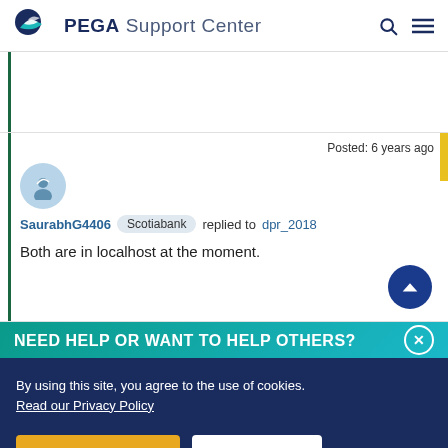PEGA Support Center
Posted: 6 years ago
SaurabhG4406  Scotiabank  replied to  dpr_2018
Both are in localhost at the moment.
NEED HELP OR WANT TO HELP OTHERS?
By using this site, you agree to the use of cookies. Read our Privacy Policy
Accept and continue
About cookies